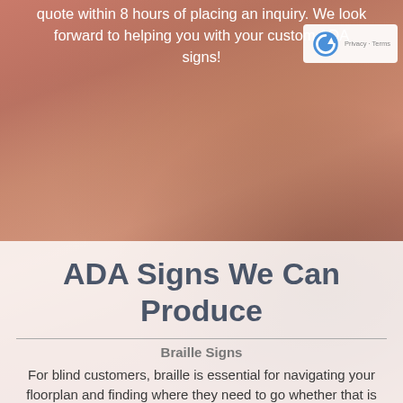quote within 8 hours of placing an inquiry. We look forward to helping you with your custom ADA signs!
ADA Signs We Can Produce
Braille Signs
For blind customers, braille is essential for navigating your floorplan and finding where they need to go whether that is the bathroom or specific area within the business. Our braille make things easy and clear for your vision-impaired